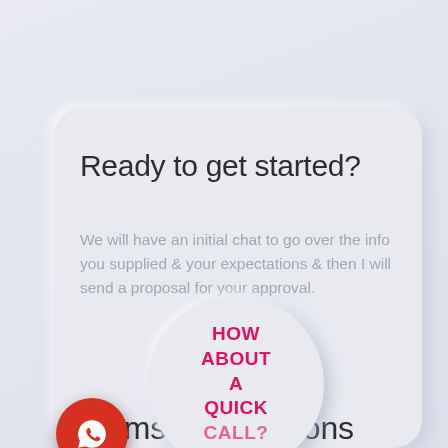Ready to get started?
We will have an initial chat to go over the info you supplied & your expectations & then I will send a proposal for your approval.
[Figure (infographic): Circular popup badge with text HOW ABOUT A QUICK CALL? in bold pink/red lettering, overlapping the card. Below it is a red circular WhatsApp button icon.]
Terms & Conditions